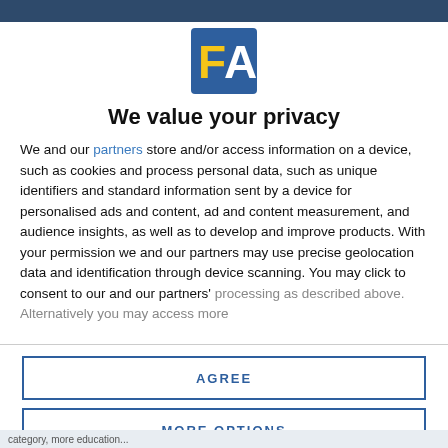[Figure (logo): FA logo — blue square background with large yellow letter F and white letter A]
We value your privacy
We and our partners store and/or access information on a device, such as cookies and process personal data, such as unique identifiers and standard information sent by a device for personalised ads and content, ad and content measurement, and audience insights, as well as to develop and improve products. With your permission we and our partners may use precise geolocation data and identification through device scanning. You may click to consent to our and our partners' processing as described above. Alternatively you may access more
AGREE
MORE OPTIONS
category, more education...